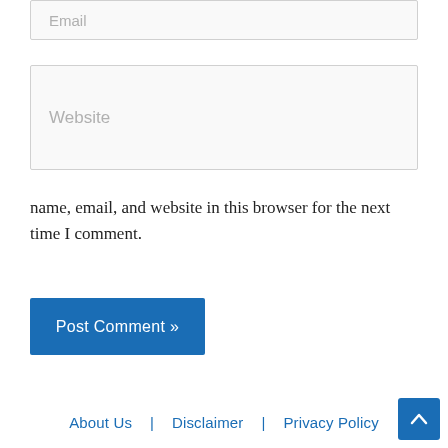Email
Website
name, email, and website in this browser for the next time I comment.
Post Comment »
About Us  |  Disclaimer  |  Privacy Policy